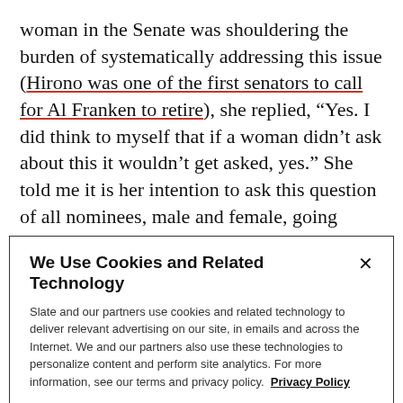woman in the Senate was shouldering the burden of systematically addressing this issue (Hirono was one of the first senators to call for Al Franken to retire), she replied, “Yes. I did think to myself that if a woman didn’t ask about this it wouldn’t get asked, yes.” She told me it is her intention to ask this question of all nominees, male and female, going forward.

Finally, I asked Sen. Hirono, who is a lawyer, whether this
We Use Cookies and Related Technology

Slate and our partners use cookies and related technology to deliver relevant advertising on our site, in emails and across the Internet. We and our partners also use these technologies to personalize content and perform site analytics. For more information, see our terms and privacy policy. Privacy Policy

OK